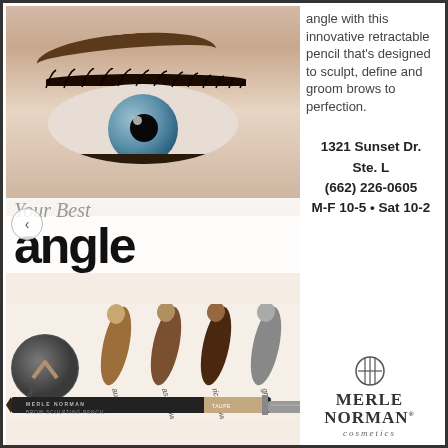[Figure (photo): Merle Norman Brow Sculpting Pencil advertisement showing close-up of a woman's eye with perfectly shaped brow, color swatches labeled taupe, auburn, ash brown, rich brown, grey, a brow pencil product with brush end, and the text 'Your Best angle']
angle with this innovative retractable pencil that's designed to sculpt, define and groom brows to perfection.
1321 Sunset Dr. Ste. L (662) 226-0605 M-F 10-5 • Sat 10-2
[Figure (logo): Merle Norman Cosmetics logo with circular emblem]